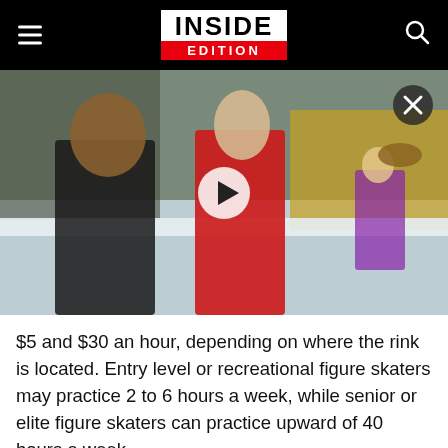INSIDE EDITION
[Figure (screenshot): Video thumbnail showing two women at an ice skating rink — one in black, one in red figure skating outfit — with a third skater visible in the background. A play button is centered on the image and a close (X) button is in the top right corner.]
$5 and $30 an hour, depending on where the rink is located. Entry level or recreational figure skaters may practice 2 to 6 hours a week, while senior or elite figure skaters can practice upward of 40 hours a week.